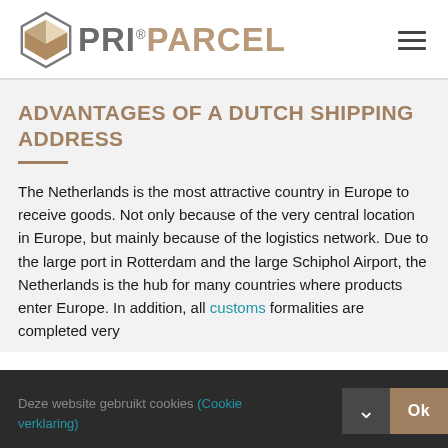[Figure (logo): PRI PARCEL logo with hexagonal box icon on the left and text 'PRI® PARCEL' in grey and tan/brown colors]
ADVANTAGES OF A DUTCH SHIPPING ADDRESS
The Netherlands is the most attractive country in Europe to receive goods. Not only because of the very central location in Europe, but mainly because of the logistics network. Due to the large port in Rotterdam and the large Schiphol Airport, the Netherlands is the hub for many countries where products enter Europe. In addition, all customs formalities are completed very
Deze website gebruikt cookies (Cookie verklaring)  Ok